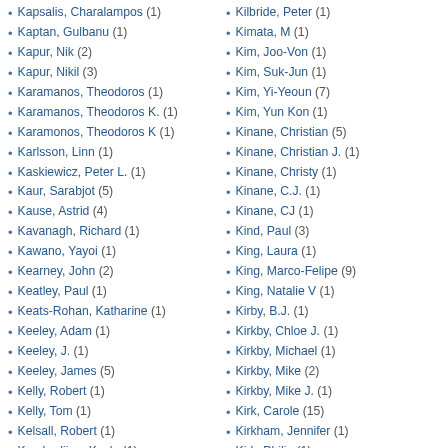Kapsalis, Charalampos (1)
Kaptan, Gulbanu (1)
Kapur, Nik (2)
Kapur, Nikil (3)
Karamanos, Theodoros (1)
Karamanos, Theodoros K. (1)
Karamonos, Theodoros K (1)
Karlsson, Linn (1)
Kaskiewicz, Peter L. (1)
Kaur, Sarabjot (5)
Kause, Astrid (4)
Kavanagh, Richard (1)
Kawano, Yayoi (1)
Kearney, John (2)
Keatley, Paul (1)
Keats-Rohan, Katharine (1)
Keeley, Adam (1)
Keeley, J. (1)
Keeley, James (5)
Kelly, Robert (1)
Kelly, Tom (1)
Kelsall, Robert (1)
Kemhadjian, Kayla (1)
Kendrick, John (3)
Kent, Anthony (1)
Kilbride, Peter (1)
Kimata, M (1)
Kim, Joo-Von (1)
Kim, Suk-Jun (1)
Kim, Yi-Yeoun (7)
Kim, Yun Kon (1)
Kinane, Christian (5)
Kinane, Christian J. (1)
Kinane, Christy (1)
Kinane, C.J. (1)
Kinane, CJ (1)
Kind, Paul (3)
King, Laura (1)
King, Marco-Felipe (9)
King, Natalie V (1)
Kirby, B.J. (1)
Kirkby, Chloe J. (1)
Kirkby, Michael (1)
Kirkby, Mike (2)
Kirkby, Mike J. (1)
Kirk, Carole (15)
Kirkham, Jennifer (1)
Kirk, Philip (1)
Klamser, P. (1)
Kleibert, Armin (1)